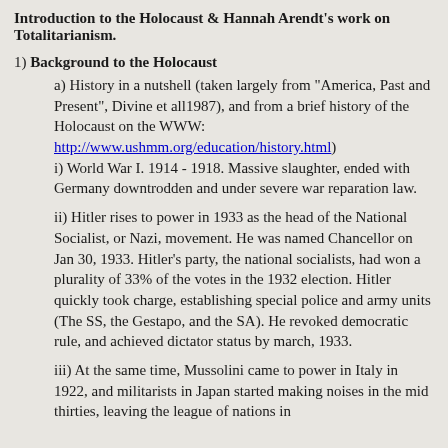Introduction to the Holocaust & Hannah Arendt's work on Totalitarianism.
1) Background to the Holocaust
a) History in a nutshell (taken largely from "America, Past and Present", Divine et all1987), and from a brief history of the Holocaust on the WWW: http://www.ushmm.org/education/history.html)
i) World War I. 1914 - 1918. Massive slaughter, ended with Germany downtrodden and under severe war reparation law.
ii) Hitler rises to power in 1933 as the head of the National Socialist, or Nazi, movement. He was named Chancellor on Jan 30, 1933. Hitler's party, the national socialists, had won a plurality of 33% of the votes in the 1932 election. Hitler quickly took charge, establishing special police and army units (The SS, the Gestapo, and the SA). He revoked democratic rule, and achieved dictator status by march, 1933.
iii) At the same time, Mussolini came to power in Italy in 1922, and militarists in Japan started making noises in the mid thirties, leaving the league of nations in